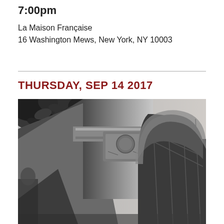7:00pm
La Maison Française
16 Washington Mews, New York, NY 10003
THURSDAY, SEP 14 2017
[Figure (photo): Black and white photograph of an ornate stone arch (Washington Square Arch) viewed from below at an angle, with decorative carvings and a coffered archway visible. Leaves from a tree are visible in the upper left corner.]